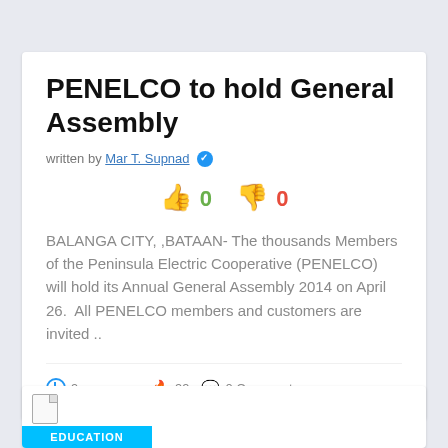PENELCO to hold General Assembly
written by Mar T. Supnad ✓
👍 0   👎 0
BALANGA CITY, ,BATAAN- The thousands Members of the Peninsula Electric Cooperative (PENELCO) will hold its Annual General Assembly 2014 on April 26.  All PENELCO members and customers are invited ..
🕐 9 years ago   🔥 99   💬 0 Comments
EDUCATION